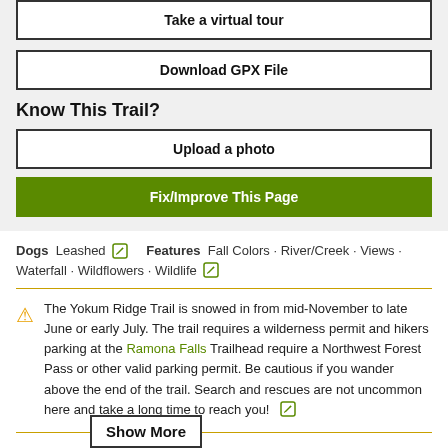Take a virtual tour
Download GPX File
Know This Trail?
Upload a photo
Fix/Improve This Page
Dogs  Leashed  Features  Fall Colors · River/Creek · Views · Waterfall · Wildflowers · Wildlife
The Yokum Ridge Trail is snowed in from mid-November to late June or early July. The trail requires a wilderness permit and hikers parking at the Ramona Falls Trailhead require a Northwest Forest Pass or other valid parking permit. Be cautious if you wander above the end of the trail. Search and rescues are not uncommon here and take a long time to reach you!
Description
Yokum Ridge is a lightly-used trail above one of the most popular d… mountain. Hikers who ascend Yokum Ridge